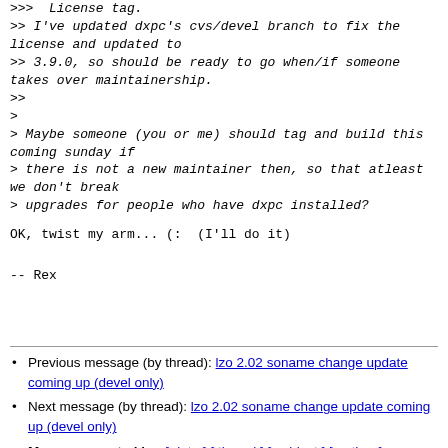>>>  License tag.
>> I've updated dxpc's cvs/devel branch to fix the license and updated to
>> 3.9.0, so should be ready to go when/if someone takes over maintainership.
>>
>
> Maybe someone (you or me) should tag and build this coming sunday if
> there is not a new maintainer then, so that atleast we don't break
> upgrades for people who have dxpc installed?
OK, twist my arm... (:  (I'll do it)

-- Rex
Previous message (by thread): lzo 2.02 soname change update coming up (devel only)
Next message (by thread): lzo 2.02 soname change update coming up (devel only)
Messages sorted by: [ date ] [ thread ] [ subject ] [ author ]
More information about the Fedora-maintainers mailing list